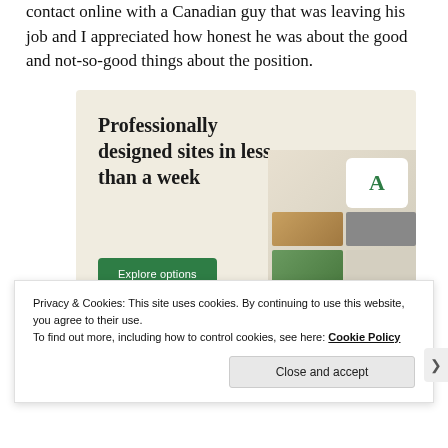contact online with a Canadian guy that was leaving his job and I appreciated how honest he was about the good and not-so-good things about the position.
[Figure (infographic): Advertisement banner with beige background. Large text reads 'Professionally designed sites in less than a week' with a green 'Explore options' button and website screenshot mockups on the right side.]
Privacy & Cookies: This site uses cookies. By continuing to use this website, you agree to their use.
To find out more, including how to control cookies, see here: Cookie Policy
Close and accept